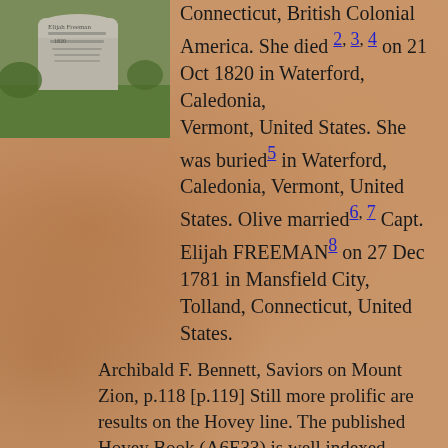[Figure (photo): Photo of a gravestone in a cemetery with grass around it]
Connecticut, British Colonial America. She died 2, 3, 4 on 21 Oct 1820 in Waterford, Caledonia, Vermont, United States. She was buried 5 in Waterford, Caledonia, Vermont, United States. Olive married 6, 7 Capt. Elijah FREEMAN 8 on 27 Dec 1781 in Mansfield City, Tolland, Connecticut, United States.
Archibald F. Bennett, Saviors on Mount Zion, p.118 [p.119] Still more prolific are results on the Hovey line. The published Hovey Book (A6E33) is well indexed. Since numerous Olive Hoveys are listed in it, it saves time to look for the Freemans. Elijah, Olive and Olive Hovey Freeman are all shown on page 188, where the record comes down to the family of Olive Hovey who married Elijah Freeman, and their children, including Olive Hovey Freeman who married Winslow Farr. With this and a beginning we are able to chart the names of 201 forefathers